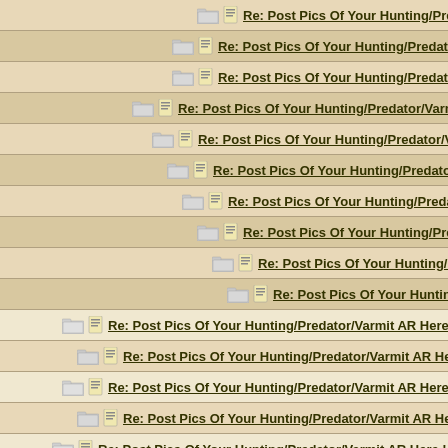Re: Post Pics Of Your Hunting/Predator/Varmit AR H...
Re: Post Pics Of Your Hunting/Predator/Varmit AR...
Re: Post Pics Of Your Hunting/Predator/Varmit AR...
Re: Post Pics Of Your Hunting/Predator/Varmit AR Here
Re: Post Pics Of Your Hunting/Predator/Varmit AR He...
Re: Post Pics Of Your Hunting/Predator/Varmit AR H...
Re: Post Pics Of Your Hunting/Predator/Varmit AR...
Re: Post Pics Of Your Hunting/Predator/Varmit...
Re: Post Pics Of Your Hunting/Predator/Varm...
Re: Post Pics Of Your Hunting/Predator/Va...
Re: Post Pics Of Your Hunting/Predator/Varmit AR Here !!
Re: Post Pics Of Your Hunting/Predator/Varmit AR Here !!
Re: Post Pics Of Your Hunting/Predator/Varmit AR Here !!
Re: Post Pics Of Your Hunting/Predator/Varmit AR Here !!
Re: Post Pics Of Your Hunting/Predator/Varmit AR Here !!
Re: Post Pics Of Your Hunting/Predator/Varmit AR Here
Re: Post Pics Of Your Hunting/Predator/Varmit AR He...
Re: Post Pics Of Your Hunting/Predator/Varmit...